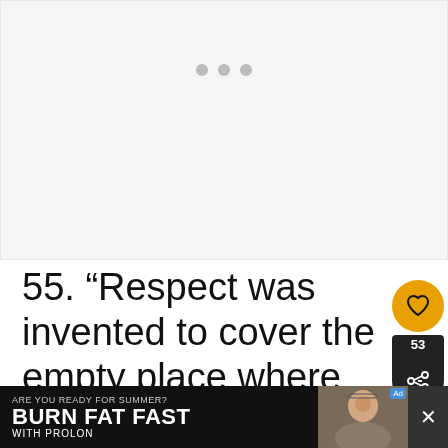[Figure (photo): Light gray placeholder image area with three gray loading dots in the center]
55. “Respect was invented to cover the empty place where love should be.” –
Leo Tolstoy
[Figure (infographic): Orange circular heart/like button with heart icon, share count badge showing 53, dark circular share button with share icon]
[Figure (screenshot): WHAT’S NEXT panel with thumbnail image and text 'Relationship Quotes...']
[Figure (infographic): Ad banner: ARE YOU READY FOR SUMMER? BURN FAT FAST WITH PROLON, with woman photo and prolon logo]